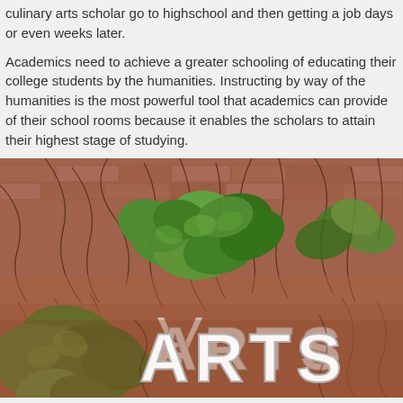culinary arts scholar go to highschool and then getting a job days or even weeks later.
Academics need to achieve a greater schooling of educating their college students by the humanities. Instructing by way of the humanities is the most powerful tool that academics can provide of their school rooms because it enables the scholars to attain their highest stage of studying.
[Figure (photo): Photograph of a red brick wall covered with ivy vines and green leaves, with large white metal letters spelling 'ARTS' mounted on the wall partially obscured by the vegetation.]